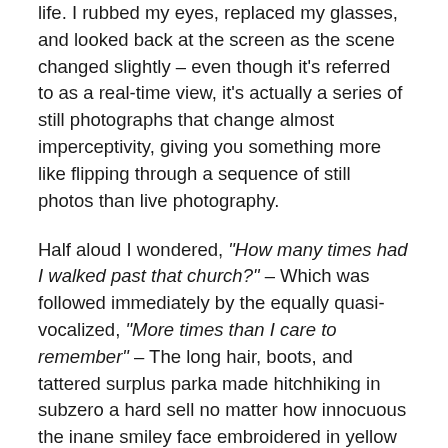life. I rubbed my eyes, replaced my glasses, and looked back at the screen as the scene changed slightly – even though it's referred to as a real-time view, it's actually a series of still photographs that change almost imperceptivity, giving you something more like flipping through a sequence of still photos than live photography.
Half aloud I wondered, "How many times had I walked past that church?" – Which was followed immediately by the equally quasi-vocalized, "More times than I care to remember" – The long hair, boots, and tattered surplus parka made hitchhiking in subzero a hard sell no matter how innocuous the inane smiley face embroidered in yellow on the left shoulder. I'd walked down that street countless times because the university bookstore's stock of girlfriend-getting ammunition was extremely limited, requiring frequent trinket runs into town, which in turn